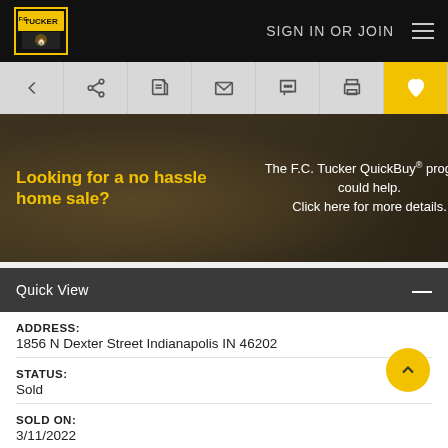[Figure (screenshot): F.C. Tucker real estate website navigation bar with logo, SIGN IN OR JOIN text, and hamburger menu]
[Figure (infographic): Toolbar with back arrow, share, save, email, chat, print, and favorite (heart) icons]
[Figure (photo): Banner advertisement: Looking for a no hassle home sale? The F.C. Tucker QuickBuy program could help. Click here for more details.]
Quick View
ADDRESS:
1856 N Dexter Street Indianapolis IN 46202
STATUS:
Sold
SOLD ON:
3/11/2022
PRICE: